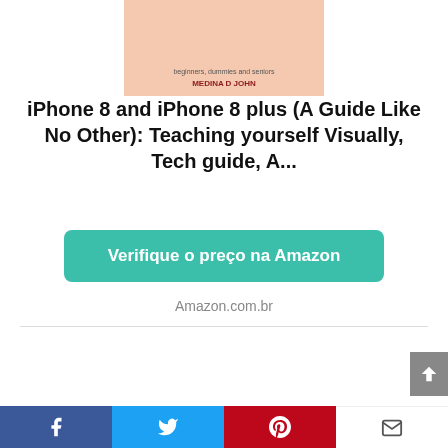[Figure (illustration): Book cover with salmon/peach background, subtitle text 'beginners, dummies and seniors' and author 'MEDINA D JOHN']
iPhone 8 and iPhone 8 plus (A Guide Like No Other): Teaching yourself Visually, Tech guide, A...
Verifique o preço na Amazon
Amazon.com.br
[Figure (illustration): Book cover with blue background, author 'CATHERINE PRICE', title 'CELULAR: COMO DAR UM TEMPO']
Facebook  Twitter  Pinterest  Email